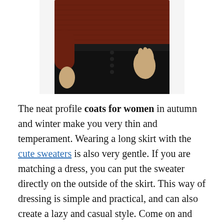[Figure (photo): Partial photo of a woman wearing a dark maroon/burgundy ribbed sweater and black high-waisted pants, cropped to show torso area with one hand in a pocket.]
The neat profile coats for women in autumn and winter make you very thin and temperament. Wearing a long skirt with the cute sweaters is also very gentle. If you are matching a dress, you can put the sweater directly on the outside of the skirt. This way of dressing is simple and practical, and can also create a lazy and casual style. Come on and take the above fashionable clothes.
admin / November 9, 2020 / Cheap Sweaters, Coats for Women / coats for women, cute sweaters